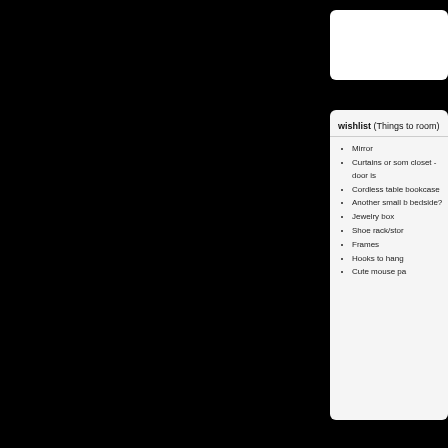wishlist (Things to room)
Mirror
Curtains or something for closet - door is
Cordless table bookcase
Another small bedside?
Jewelry box
Shoe rack/stor
Frames
Hooks to hang
Cute mouse pa